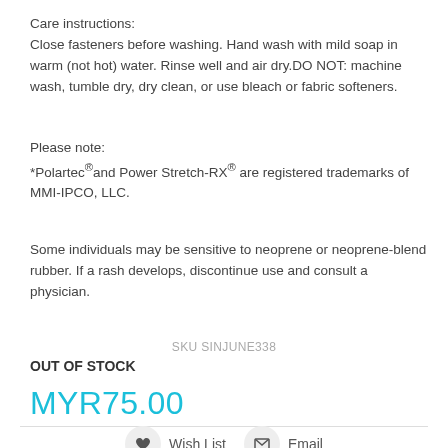Care instructions:
Close fasteners before washing. Hand wash with mild soap in warm (not hot) water. Rinse well and air dry.DO NOT: machine wash, tumble dry, dry clean, or use bleach or fabric softeners.
Please note:
*Polartec®and Power Stretch-RX® are registered trademarks of MMI-IPCO, LLC.
Some individuals may be sensitive to neoprene or neoprene-blend rubber. If a rash develops, discontinue use and consult a physician.
SKU SINJUNE338
OUT OF STOCK
MYR75.00
Wish List
Email